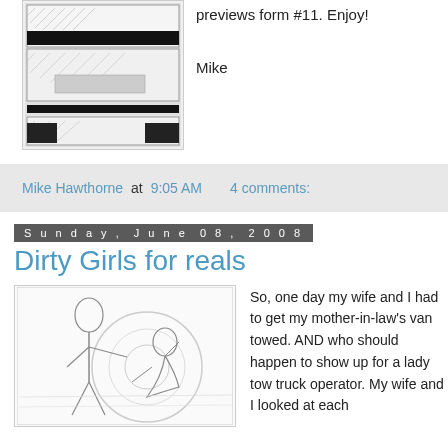[Figure (illustration): Black and white comic book page panels showing action scenes, inked artwork]
previews form #11. Enjoy!

Mike
Mike Hawthorne at 9:05 AM   4 comments:
Sunday, June 08, 2008
Dirty Girls for reals
[Figure (illustration): Pencil sketch illustration of two female figures, one standing and one crouching, with circular design elements in background]
So, one day my wife and I had to get my mother-in-law's van towed. AND who should happen to show up for a lady tow truck operator. My wife and I looked at each